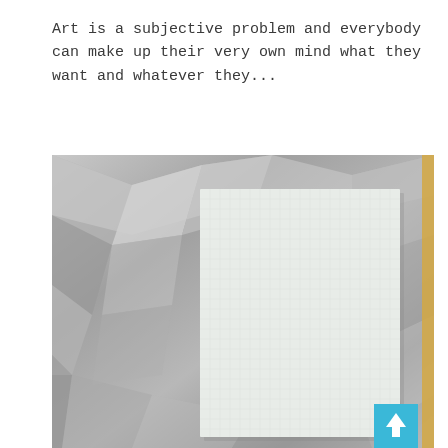Art is a subjective problem and everybody can make up their very own mind what they want and whatever they...
[Figure (photo): A blank white canvas propped up on crumpled silver/metallic foil or paper. The canvas has a subtle texture grid. On the far right edge, a small strip of yellow/golden color is visible. A teal/cyan scroll-to-top button with an upward arrow is overlaid in the bottom-right corner.]